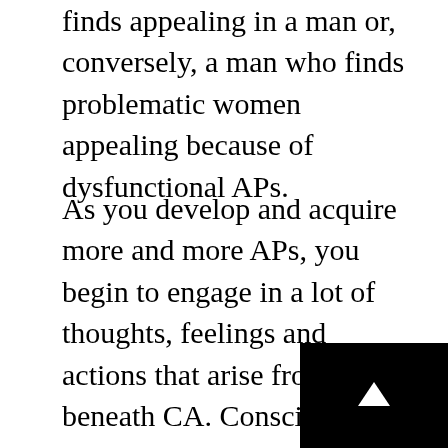finds appealing in a man or, conversely, a man who finds problematic women appealing because of dysfunctional APs.
As you develop and acquire more and more APs, you begin to engage in a lot of thoughts, feelings and actions that arise from beneath CA. Conscious awareness creates explanations to explain the occurrence of these thoughts, feelings and actions. Over time the explanations are woven into narratives that explain who we are and why we think, feel and act in certain ways. This becomes an evolving self-description or what might be called a fictive-self. The